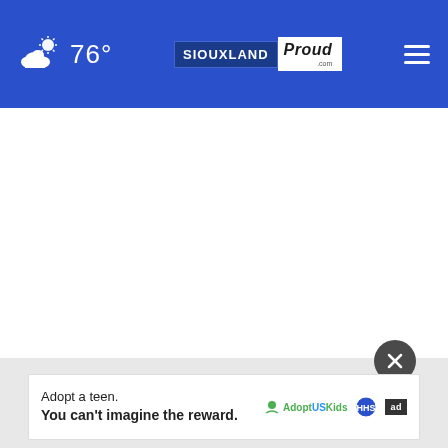76° SIOUXLAND Proud
[Figure (screenshot): Large white empty content area below the header navigation bar]
[Figure (infographic): Close button (X) circle in dark gray positioned near bottom-right of content area]
Adopt a teen. You can't imagine the reward.